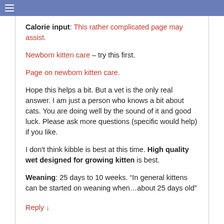Calorie input: This rather complicated page may assist.
Newborn kitten care – try this first.
Page on newborn kitten care.
Hope this helps a bit. But a vet is the only real answer. I am just a person who knows a bit about cats. You are doing well by the sound of it and good luck. Please ask more questions (specific would help) if you like.
I don't think kibble is best at this time. High quality wet designed for growing kitten is best.
Weaning: 25 days to 10 weeks. “In general kittens can be started on weaning when…about 25 days old”
Reply ↓